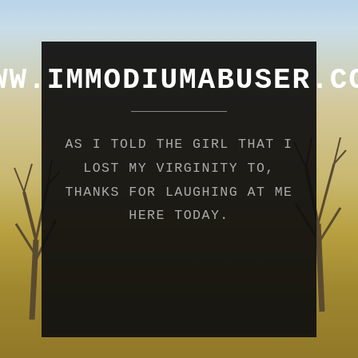[Figure (photo): Outdoor background scene with blue sky at top, bare trees on left and right sides, and a golden yellow grassy field in the foreground]
WWW.IMMODIUMABUSER.COM
AS I TOLD THE GIRL THAT I LOST MY VIRGINITY TO, THANKS FOR LAUGHING AT ME HERE TODAY.